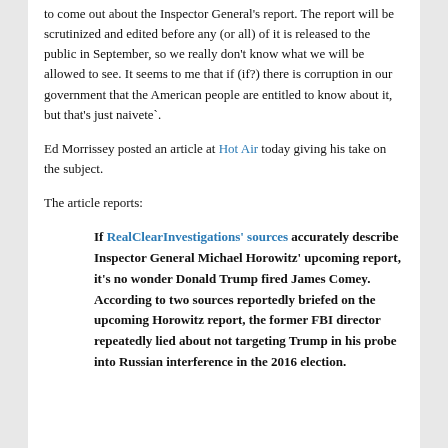to come out about the Inspector General's report. The report will be scrutinized and edited before any (or all) of it is released to the public in September, so we really don't know what we will be allowed to see. It seems to me that if (if?) there is corruption in our government that the American people are entitled to know about it, but that's just naivete`.
Ed Morrissey posted an article at Hot Air today giving his take on the subject.
The article reports:
If RealClearInvestigations' sources accurately describe Inspector General Michael Horowitz' upcoming report, it's no wonder Donald Trump fired James Comey. According to two sources reportedly briefed on the upcoming Horowitz report, the former FBI director repeatedly lied about not targeting Trump in his probe into Russian interference in the 2016 election.